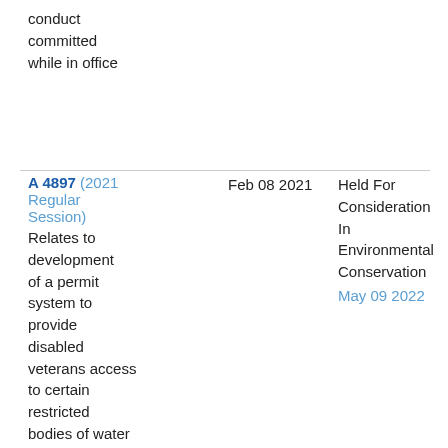conduct committed while in office
A 4897 (2021 Regular Session) Relates to development of a permit system to provide disabled veterans access to certain restricted bodies of water through the use of float
Feb 08 2021
Held For Consideration In Environmental Conservation May 09 2022